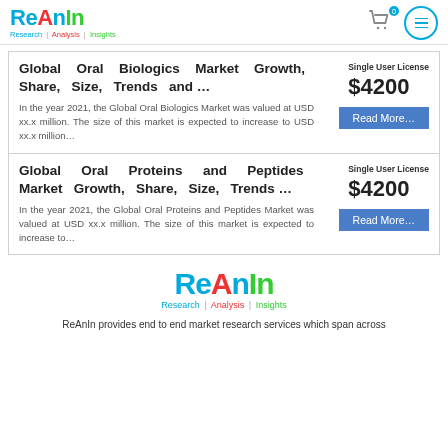ReAnIn Research | Analysis | Insights
Global Oral Biologics Market Growth, Share, Size, Trends and …
Single User License
$4200
In the year 2021, the Global Oral Biologics Market was valued at USD xx.x million. The size of this market is expected to increase to USD xx.x million…
Global Oral Proteins and Peptides Market Growth, Share, Size, Trends …
Single User License
$4200
In the year 2021, the Global Oral Proteins and Peptides Market was valued at USD xx.x million. The size of this market is expected to increase to…
[Figure (logo): ReAnIn logo with tagline Research | Analysis | Insights]
ReAnIn provides end to end market research services which span across